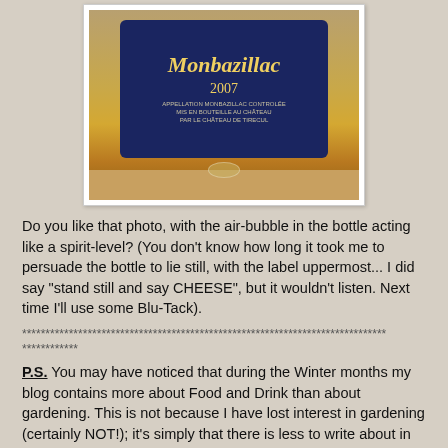[Figure (photo): A wine bottle of Monbazillac 2007 lying on its side on a wooden surface, with an air bubble visible inside acting like a spirit level. The bottle has a dark blue label with gold text.]
Do you like that photo, with the air-bubble in the bottle acting like a spirit-level? (You don't know how long it took me to persuade the bottle to lie still, with the label uppermost... I did say "stand still and say CHEESE", but it wouldn't listen. Next time I'll use some Blu-Tack).
******************************************************************************
************
P.S. You may have noticed that during the Winter months my blog contains more about Food and Drink than about gardening. This is not because I have lost interest in gardening (certainly NOT!); it's simply that there is less to write about in the garden at this time of year, so my interest has been more kitchen-orientated.
I have discovered a lot of really great Foodie blogs, and I